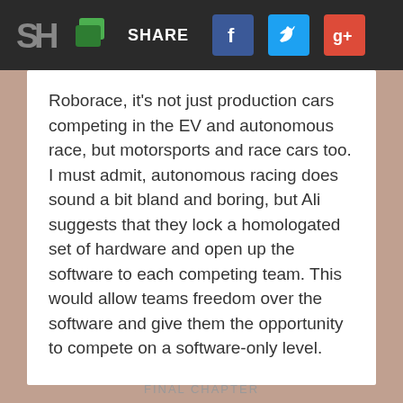SH | SHARE [Facebook] [Twitter] [Google+]
Roborace, it's not just production cars competing in the EV and autonomous race, but motorsports and race cars too. I must admit, autonomous racing does sound a bit bland and boring, but Ali suggests that they lock a homologated set of hardware and open up the software to each competing team. This would allow teams freedom over the software and give them the opportunity to compete on a software-only level.
FINAL CHAPTER
The 2002